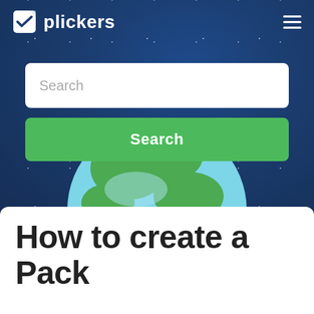plickers
[Figure (illustration): Globe illustration showing earth with green landmasses and light blue oceans, partially visible behind search elements]
Search
Search
How to create a Pack